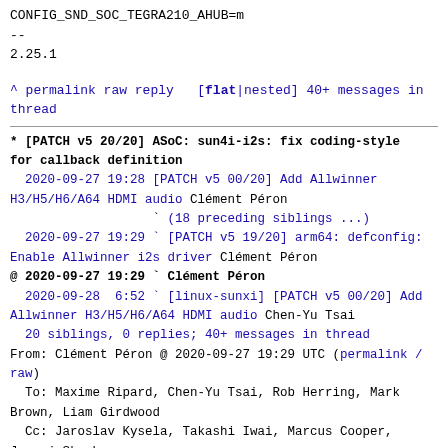CONFIG_SND_SOC_TEGRA210_AHUB=m
--
2.25.1
^ permalink raw reply   [flat|nested] 40+ messages in thread
* [PATCH v5 20/20] ASoC: sun4i-i2s: fix coding-style for callback definition
  2020-09-27 19:28 [PATCH v5 00/20] Add Allwinner H3/H5/H6/A64 HDMI audio Clément Péron
                   ` (18 preceding siblings ...)
  2020-09-27 19:29 ` [PATCH v5 19/20] arm64: defconfig: Enable Allwinner i2s driver Clément Péron
@ 2020-09-27 19:29 ` Clément Péron
  2020-09-28  6:52 ` [linux-sunxi] [PATCH v5 00/20] Add Allwinner H3/H5/H6/A64 HDMI audio Chen-Yu Tsai
  20 siblings, 0 replies; 40+ messages in thread
From: Clément Péron @ 2020-09-27 19:29 UTC (permalink / raw)
  To: Maxime Ripard, Chen-Yu Tsai, Rob Herring, Mark Brown, Liam Girdwood
  Cc: Jaroslav Kysela, Takashi Iwai, Marcus Cooper, Jernej Skrabec,
         alsa-devel, devicetree, linux-arm-kernel, linux-kernel,
          linux-sunxi, Clément Péron